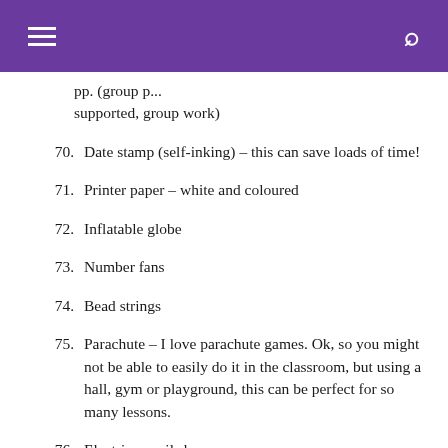☰  🔍
pp. (group p... supported, group work)
70. Date stamp (self-inking) – this can save loads of time!
71. Printer paper – white and coloured
72. Inflatable globe
73. Number fans
74. Bead strings
75. Parachute – I love parachute games. Ok, so you might not be able to easily do it in the classroom, but using a hall, gym or playground, this can be perfect for so many lessons.
76. Electric pencil sharpener